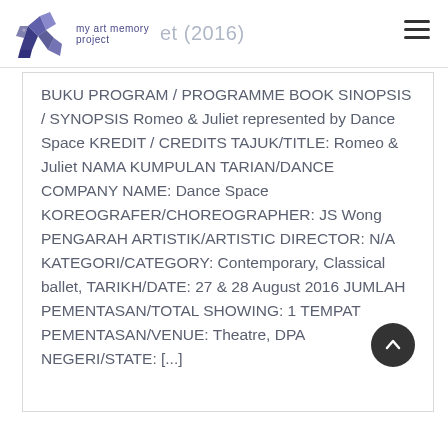my art memory project — et (2016)
BUKU PROGRAM / PROGRAMME BOOK SINOPSIS / SYNOPSIS Romeo & Juliet represented by Dance Space KREDIT / CREDITS TAJUK/TITLE: Romeo & Juliet NAMA KUMPULAN TARIAN/DANCE COMPANY NAME: Dance Space KOREOGRAFER/CHOREOGRAPHER: JS Wong PENGARAH ARTISTIK/ARTISTIC DIRECTOR: N/A KATEGORI/CATEGORY: Contemporary, Classical ballet, TARIKH/DATE: 27 & 28 August 2016 JUMLAH PEMENTASAN/TOTAL SHOWING: 1 TEMPAT PEMENTASAN/VENUE: Theatre, DPAC NEGERI/STATE: [...]